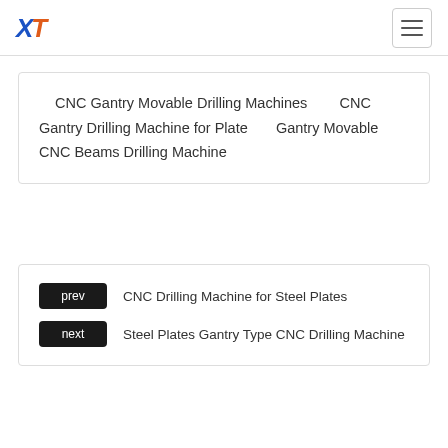XT logo and navigation menu
CNC Gantry Movable Drilling Machines    CNC Gantry Drilling Machine for Plate    Gantry Movable CNC Beams Drilling Machine
prev  CNC Drilling Machine for Steel Plates
next  Steel Plates Gantry Type CNC Drilling Machine